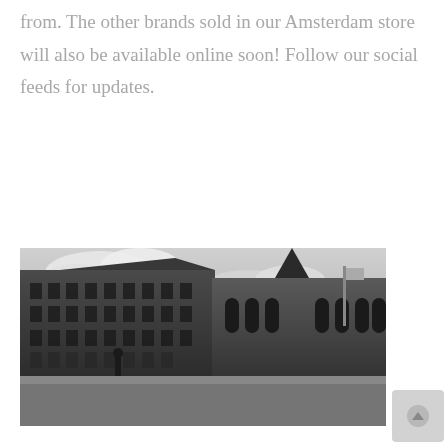from. The other brands sold in our Amsterdam store will also be available online soon! Follow our social feeds for updates.
[Figure (photo): Black and white photograph of Amsterdam's Dam Square showing the Royal Palace on the left and Nieuwe Kerk (New Church) on the right, with a person standing in the foreground on the square.]
Our beautiful city of Amsterdam has welcomed you many times in the past and we know that travelling